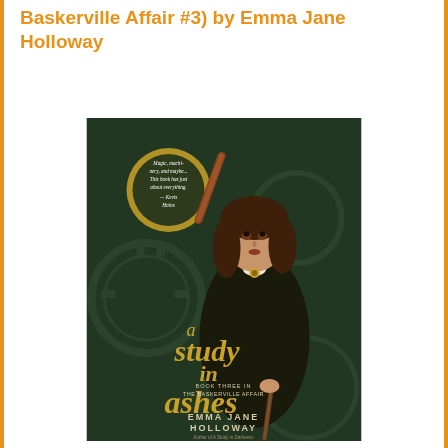Baskerville Affair #3) by Emma Jane Holloway
[Figure (illustration): Book cover of 'A Study in Ashes' (Book Three in The Baskerville Affair) by Emma Jane Holloway. Features a young woman with long brown hair in dark Victorian clothing holding a cane, set against a dark greenish steampunk background. A magnifying glass in the upper left shows a review quote: 'Magic, machines, mystery, and maybe... This book has just about everything. — Kevis Holos'. The title 'a study in ashes' appears in large gold lettering in the center-bottom area, with the author's name 'Emma Jane Holloway' at the bottom, and subtitle 'Book Three in The Baskerville Affair'.]